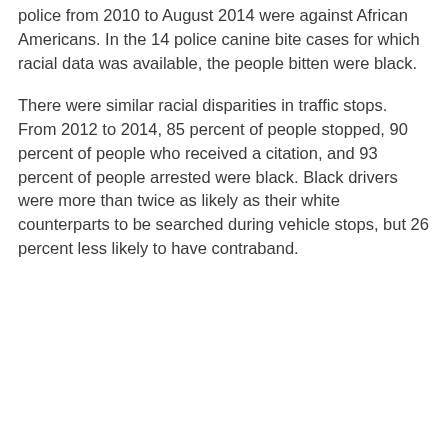police from 2010 to August 2014 were against African Americans. In the 14 police canine bite cases for which racial data was available, the people bitten were black.
There were similar racial disparities in traffic stops. From 2012 to 2014, 85 percent of people stopped, 90 percent of people who received a citation, and 93 percent of people arrested were black. Black drivers were more than twice as likely as their white counterparts to be searched during vehicle stops, but 26 percent less likely to have contraband.